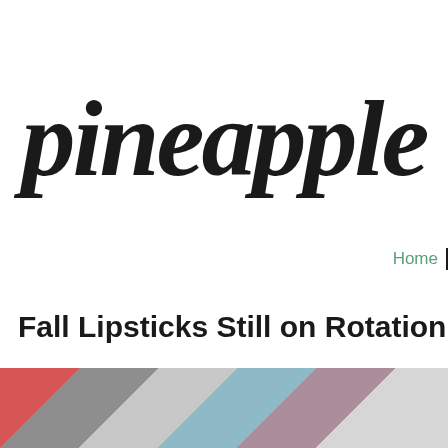[Figure (logo): Pineapple blog logo in large cursive/script italic font, dark charcoal color on white background]
Home
Fall Lipsticks Still on Rotation
[Figure (photo): Partial view of a photo showing lipstick products, cropped at the bottom of the page]